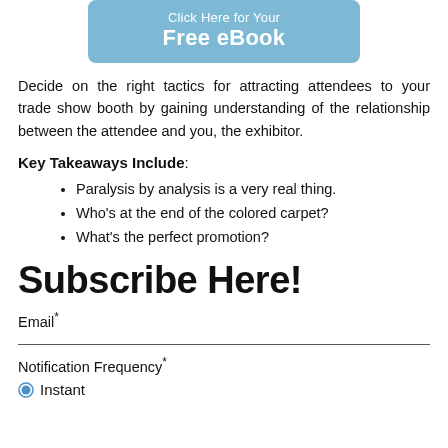[Figure (other): Light blue rounded button with text 'Click Here for Your Free eBook']
Decide on the right tactics for attracting attendees to your trade show booth by gaining understanding of the relationship between the attendee and you, the exhibitor.
Key Takeaways Include:
Paralysis by analysis is a very real thing.
Who's at the end of the colored carpet?
What's the perfect promotion?
Subscribe Here!
Email*
Notification Frequency*
Instant